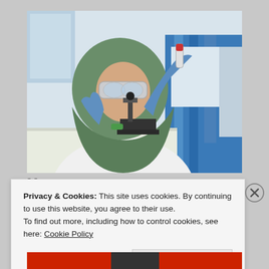[Figure (photo): A woman wearing a green hijab, safety goggles, and blue latex gloves, dressed in a white lab coat, holding a red-capped test tube in a laboratory setting with a microscope and blue equipment visible in the background.]
Privacy & Cookies: This site uses cookies. By continuing to use this website, you agree to their use.
To find out more, including how to control cookies, see here: Cookie Policy
Close and accept